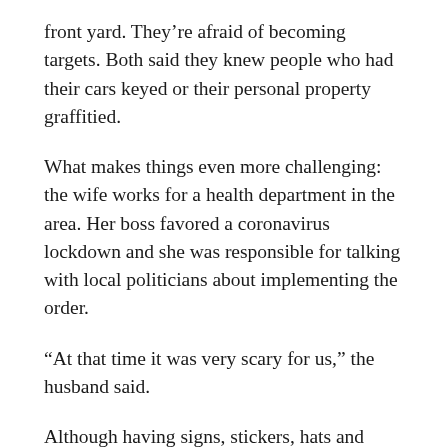front yard. They're afraid of becoming targets. Both said they knew people who had their cars keyed or their personal property graffitied.
What makes things even more challenging: the wife works for a health department in the area. Her boss favored a coronavirus lockdown and she was responsible for talking with local politicians about implementing the order.
“At that time it was very scary for us,” the husband said.
Although having signs, stickers, hats and shirts identifying themselves as a Trump supporter is a concern for the Midland couple, the Bay City woman had no problem proudly displaying her Trump-Pence signs in her yard. In fact, her house and another